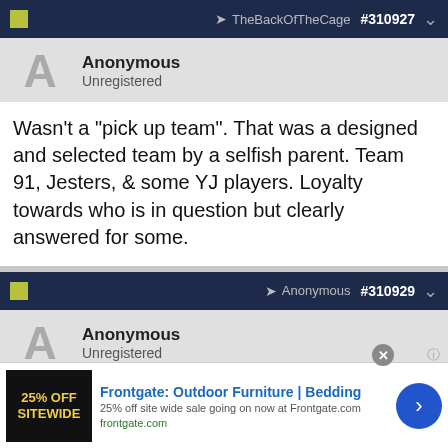TheBackOfTheCage #310927
Anonymous
Unregistered
Wasn't a "pick up team". That was a designed and selected team by a selfish parent. Team 91, Jesters, & some YJ players. Loyalty towards who is in question but clearly answered for some.
Anonymous #310929
Anonymous
Unregistered
depends on the coach and your relationship with him/her. Did you have a conversation with the coach before you left or just
[Figure (screenshot): Advertisement for Frontgate: Outdoor Furniture and Bedding. 25% off site wide sale going on now at Frontgate.com. frontgate.com]